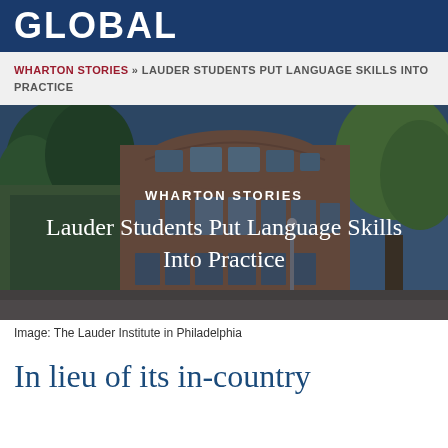GLOBAL
WHARTON STORIES » LAUDER STUDENTS PUT LANGUAGE SKILLS INTO PRACTICE
[Figure (photo): Exterior photo of the Lauder Institute building in Philadelphia, a brick building with large windows and trees, with overlaid text reading WHARTON STORIES and Lauder Students Put Language Skills Into Practice]
Image: The Lauder Institute in Philadelphia
In lieu of its in-country